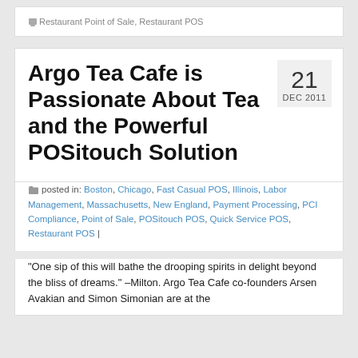Restaurant Point of Sale, Restaurant POS
Argo Tea Cafe is Passionate About Tea and the Powerful POSitouch Solution
posted in: Boston, Chicago, Fast Casual POS, Illinois, Labor Management, Massachusetts, New England, Payment Processing, PCI Compliance, Point of Sale, POSitouch POS, Quick Service POS, Restaurant POS |
“One sip of this will bathe the drooping spirits in delight beyond the bliss of dreams.” –Milton. Argo Tea Cafe co-founders Arsen Avakian and Simon Simonian are at the